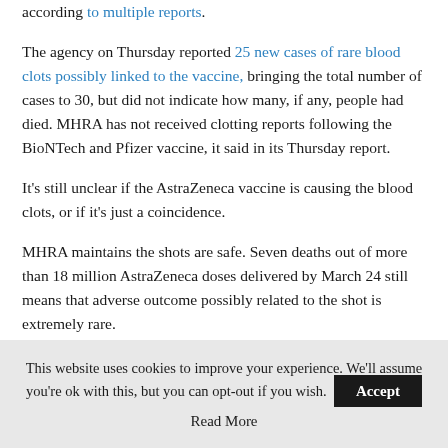according to multiple reports.
The agency on Thursday reported 25 new cases of rare blood clots possibly linked to the vaccine, bringing the total number of cases to 30, but did not indicate how many, if any, people had died. MHRA has not received clotting reports following the BioNTech and Pfizer vaccine, it said in its Thursday report.
It’s still unclear if the AstraZeneca vaccine is causing the blood clots, or if it’s just a coincidence.
MHRA maintains the shots are safe. Seven deaths out of more than 18 million AstraZeneca doses delivered by March 24 still means that adverse outcome possibly related to the shot is extremely rare.
This website uses cookies to improve your experience. We'll assume you’re ok with this, but you can opt-out if you wish. Accept Read More